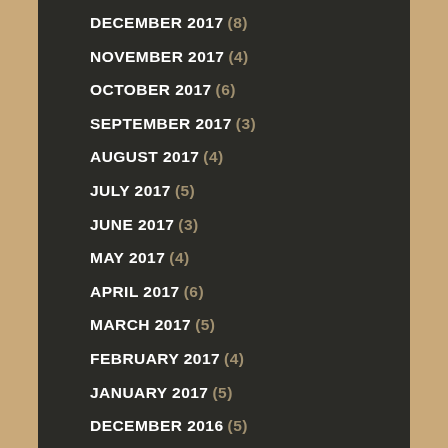DECEMBER 2017 (8)
NOVEMBER 2017 (4)
OCTOBER 2017 (6)
SEPTEMBER 2017 (3)
AUGUST 2017 (4)
JULY 2017 (5)
JUNE 2017 (3)
MAY 2017 (4)
APRIL 2017 (6)
MARCH 2017 (5)
FEBRUARY 2017 (4)
JANUARY 2017 (5)
DECEMBER 2016 (5)
NOVEMBER 2016 (4)
OCTOBER 2016 (5)
SEPTEMBER 2016 (4)